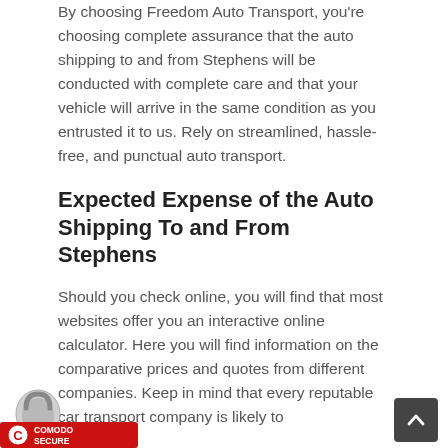By choosing Freedom Auto Transport, you're choosing complete assurance that the auto shipping to and from Stephens will be conducted with complete care and that your vehicle will arrive in the same condition as you entrusted it to us. Rely on streamlined, hassle-free, and punctual auto transport.
Expected Expense of the Auto Shipping To and From Stephens
Should you check online, you will find that most websites offer you an interactive online calculator. Here you will find information on the comparative prices and quotes from different companies. Keep in mind that every reputable car transport company is likely to